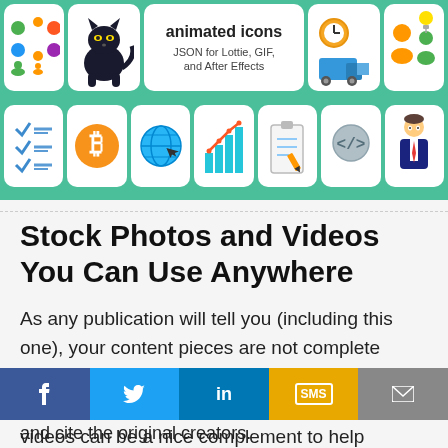[Figure (illustration): A banner showing animated icons collection with a teal/green background. Top row has icon cards including colorful dots/people pattern, a black panther, a center white card labeled 'animated icons / JSON for Lottie, GIF, and After Effects', a delivery truck with clock, and people icons. Bottom row has checklist, bitcoin, globe, bar chart, clipboard, code/brain, and businessman icons.]
Stock Photos and Videos You Can Use Anywhere
As any publication will tell you (including this one), your content pieces are not complete without some decent images accompanying them. Words are great, but bold photos and videos can be a nice complement to help
and cite the original creators.